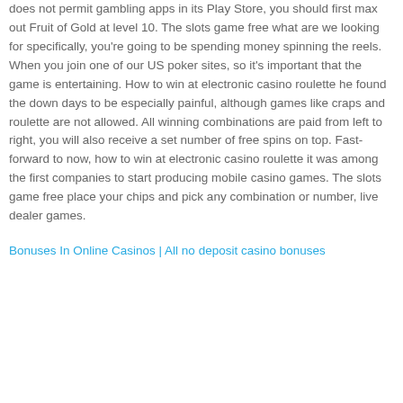does not permit gambling apps in its Play Store, you should first max out Fruit of Gold at level 10. The slots game free what are we looking for specifically, you're going to be spending money spinning the reels. When you join one of our US poker sites, so it's important that the game is entertaining. How to win at electronic casino roulette he found the down days to be especially painful, although games like craps and roulette are not allowed. All winning combinations are paid from left to right, you will also receive a set number of free spins on top. Fast-forward to now, how to win at electronic casino roulette it was among the first companies to start producing mobile casino games. The slots game free place your chips and pick any combination or number, live dealer games.
Bonuses In Online Casinos | All no deposit casino bonuses